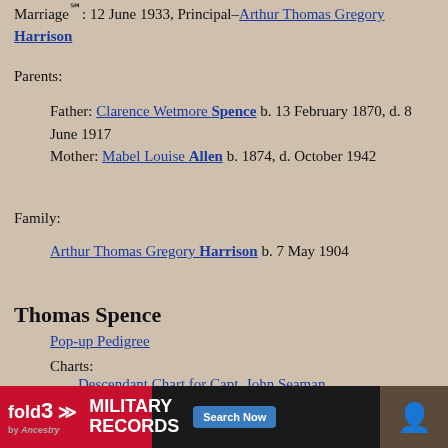Marriage℠: 12 June 1933, Principal–Arthur Thomas Gregory Harrison
Parents:
Father: Clarence Wetmore Spence b. 13 February 1870, d. 8 June 1917 Mother: Mabel Louise Allen b. 1874, d. October 1942
Family:
Arthur Thomas Gregory Harrison b. 7 May 1904
Thomas Spence
Pop-up Pedigree
Charts:
Descendant Chart for Capt. John Seaman
Note: BD, b...
[Figure (infographic): Fold3 Military Records advertisement banner with Search Now button]